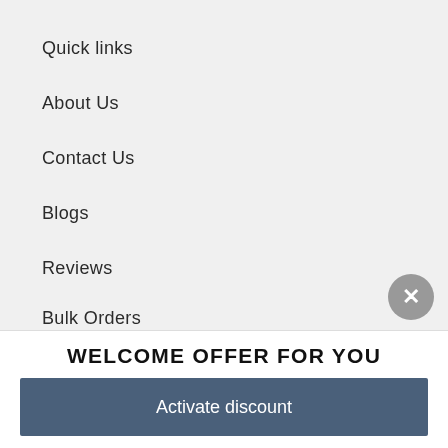Quick links
About Us
Contact Us
Blogs
Reviews
Bulk Orders
WELCOME OFFER FOR YOU
Activate discount